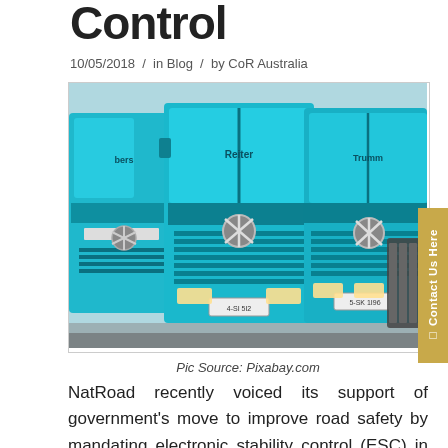Control
10/05/2018 / in Blog / by CoR Australia
[Figure (photo): Row of teal/turquoise Mercedes-Benz trucks parked front-facing, showing grilles and the three-pointed star logos]
Pic Source: Pixabay.com
NatRoad recently voiced its support of government's move to improve road safety by mandating electronic stability control (ESC) in new trucks and roll stability control (RSC) in new trailers.